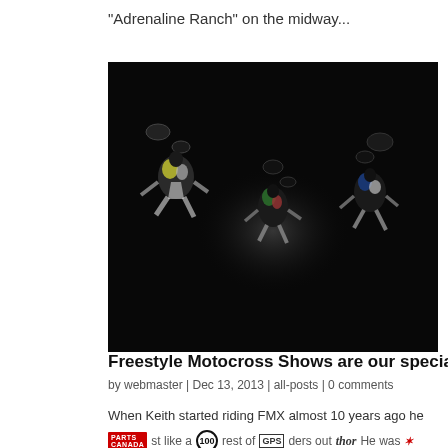"Adrenaline Ranch" on the midway...
[Figure (photo): Dark action photo of three freestyle motocross riders performing aerial tricks against a near-black background with a faint circular light glow in the center.]
Freestyle Motocross Shows are our specialty
by webmaster | Dec 13, 2013 | all-posts | 0 comments
When Keith started riding FMX almost 10 years ago he
st like a the rest of ders out  He was